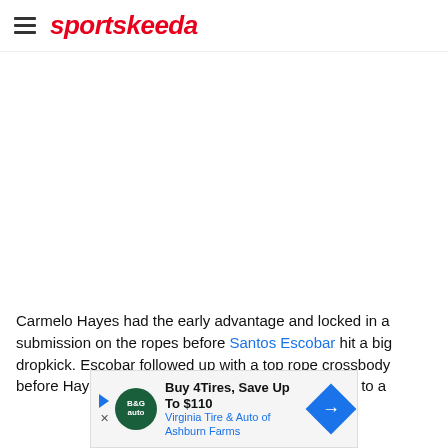sportskeeda
[Figure (photo): Large image area, appears blank/white in this view]
Carmelo Hayes had the early advantage and locked in a submission on the ropes before Santos Escobar hit a big dropkick. Escobar followed up with a top rope crossbody before Hayes came back with a springboard thanks to a
[Figure (other): Ad banner: Buy 4 Tires, Save Up To $110 — Virginia Tire & Auto of Ashburn Farms]